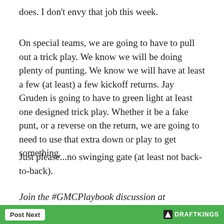does. I don't envy that job this week.
On special teams, we are going to have to pull out a trick play. We know we will be doing plenty of punting. We know we will have at least a few (at least) a few kickoff returns. Jay Gruden is going to have to green light at least one designed trick play. Whether it be a fake punt, or a reverse on the return, we are going to need to use that extra down or play to get something.
Just please...no swinging gate (at least not back-to-back).
Join the #GMCPlaybook discussion at sbnation.com/sponsored-gmc-playbook and on Twitter by following @thisisgmc & @marshallfaulk.
Post Next | DRAFTKINGS